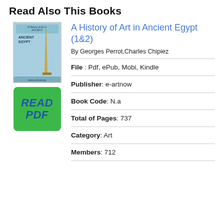Read Also This Books
A History of Art in Ancient Egypt (1&2)
By Georges Perrot,Charles Chipiez
[Figure (illustration): Book cover for A History of Art in Ancient Egypt showing an obelisk on a light blue background with text 'A History of Art in Ancient Egypt']
[Figure (other): Green button with text READ PDF]
File : Pdf, ePub, Mobi, Kindle
Publisher : e-artnow
Book Code : N.a
Total of Pages : 737
Category : Art
Members : 712